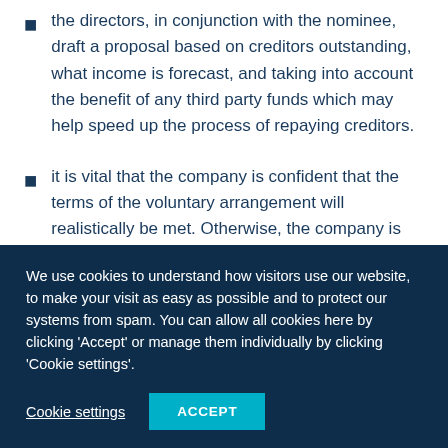the directors, in conjunction with the nominee, draft a proposal based on creditors outstanding, what income is forecast, and taking into account the benefit of any third party funds which may help speed up the process of repaying creditors.
it is vital that the company is confident that the terms of the voluntary arrangement will realistically be met. Otherwise, the company is wasting time and money. If this is not the case, then discuss with the insolvency practitioner whether the creditors option is appropriate.
We use cookies to understand how visitors use our website, to make your visit as easy as possible and to protect our systems from spam. You can allow all cookies here by clicking 'Accept' or manage them individually by clicking 'Cookie settings'.